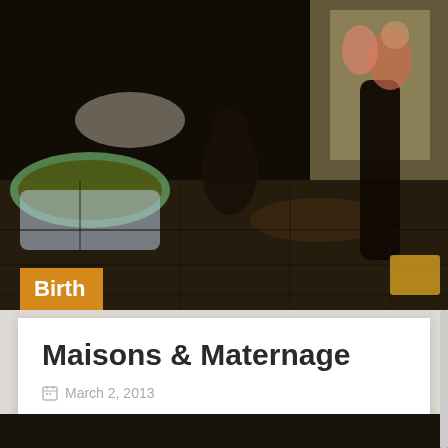[Figure (photo): Dark indoor scene of a home birth setting with people around a birth pool. Low lit room with tiled floor, a green and yellow inflatable birth pool visible on the left, several people in background near a bed or mat.]
Birth
Maisons & Maternage
March 2, 2013
You'd think there would be birth centers all over France. Natural birth advocate Michel Odent, is, after all French! This report on last night's 8pm TF1 news shows that maisons [...]
[Figure (photo): Partial view of another photo at the very bottom of the page, dark tones, appears to be another indoor scene.]